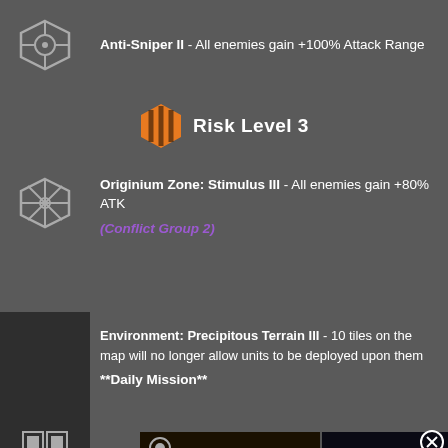Anti-Sniper II - All enemies gain +100% Attack Range
Risk Level 3
Originium Zone: Stimulus III - All enemies gain +80% ATK
(Conflict Group 2)
Environment: Precipitous Terrain III - 10 tiles on the map will no longer allow units to be deployed upon them
**Daily Mission**
[Figure (screenshot): In-game screenshot split view: left shows isometric map with red grid overlays on yellow-lit tiles, right shows a video thumbnail with a large white play button triangle over a dark space scene with light beam, 'Top' button bottom-right]